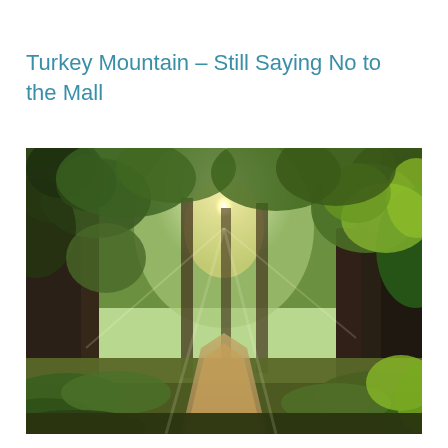Turkey Mountain – Still Saying No to the Mall
[Figure (photo): A sunlit forest trail through dense green trees at Turkey Mountain, with golden sunlight breaking through the canopy and a dirt path winding into the distance.]